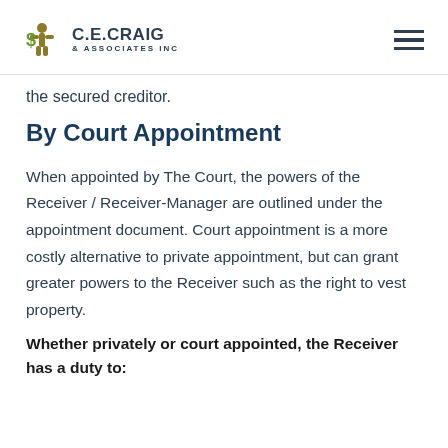C.E. Craig & Associates Inc
the secured creditor.
By Court Appointment
When appointed by The Court, the powers of the Receiver / Receiver-Manager are outlined under the appointment document. Court appointment is a more costly alternative to private appointment, but can grant greater powers to the Receiver such as the right to vest property.
Whether privately or court appointed, the Receiver has a duty to: